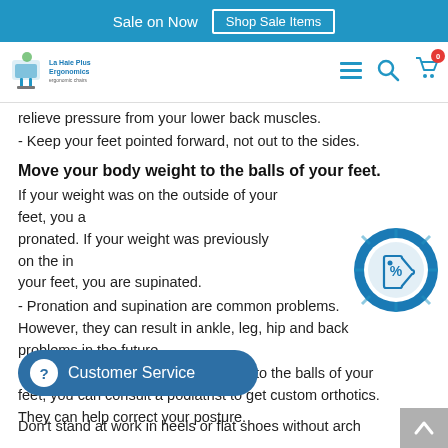Sale on Now  Shop Sale Items
[Figure (logo): La Haie Plus Ergonomics logo with stylized chair icon and company name]
relieve pressure from your lower back muscles.
- Keep your feet pointed forward, not out to the sides.
Move your body weight to the balls of your feet.
If your weight was on the outside of your feet, you are pronated. If your weight was previously on the inside of your feet, you are supinated.
- Pronation and supination are common problems. However, they can result in ankle, leg, hip and back problems in the future.
- If it is very hard to move the weight to the balls of your feet, you can consult a podiatrist to get custom orthotics. They can help correct your posture.
[Figure (illustration): Blue circular discount/sale badge with % tag icon]
Don't stand at work in heels or flat shoes without arch